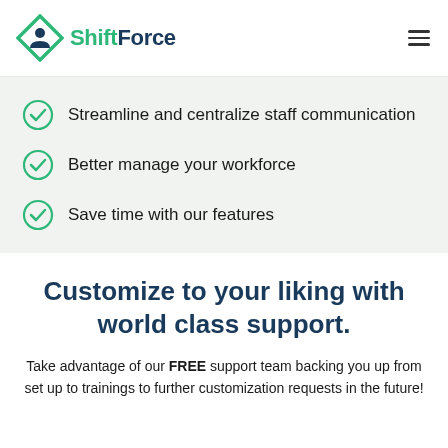[Figure (logo): ShiftForce logo with diamond/person icon in green and teal, and text 'ShiftForce' in dark navy and green]
Streamline and centralize staff communication
Better manage your workforce
Save time with our features
Customize to your liking with world class support.
Take advantage of our FREE support team backing you up from set up to trainings to further customization requests in the future!